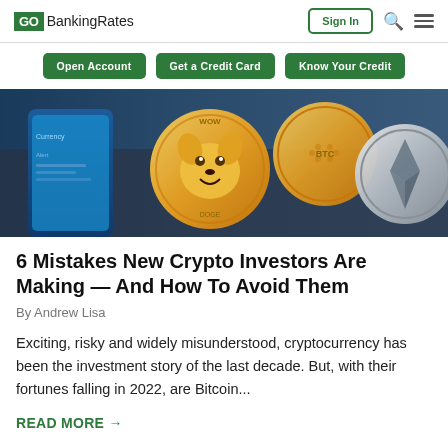GO BankingRates | Sign In
Open Account | Get a Credit Card | Know Your Credit
[Figure (photo): Cryptocurrency coins including Dogecoin and Ethereum arranged on a smartphone screen showing a crypto app]
6 Mistakes New Crypto Investors Are Making — And How To Avoid Them
By Andrew Lisa
Exciting, risky and widely misunderstood, cryptocurrency has been the investment story of the last decade. But, with their fortunes falling in 2022, are Bitcoin...
READ MORE →